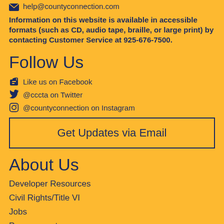help@countyconnection.com
Information on this website is available in accessible formats (such as CD, audio tape, braille, or large print) by contacting Customer Service at 925-676-7500.
Follow Us
Like us on Facebook
@cccta on Twitter
@countyconnection on Instagram
Get Updates via Email
About Us
Developer Resources
Civil Rights/Title VI
Jobs
Procurements